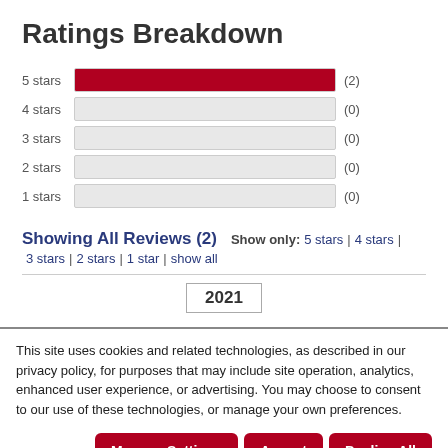Ratings Breakdown
[Figure (bar-chart): Ratings Breakdown]
Showing All Reviews (2)  Show only: 5 stars | 4 stars | 3 stars | 2 stars | 1 star | show all
2021
This site uses cookies and related technologies, as described in our privacy policy, for purposes that may include site operation, analytics, enhanced user experience, or advertising. You may choose to consent to our use of these technologies, or manage your own preferences.
Manage Settings  Accept  Decline All